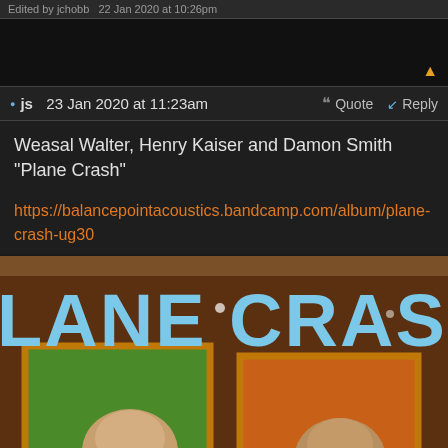Edited by jchobb  22 Jan 2020 at 10:26pm
js  23 Jan 2020 at 11:23am    Quote    Reply
Weasal Walter, Henry Kaiser and Damon Smith
"Plane Crash"

https://balancepointacoustics.bandcamp.com/album/plane-crash-ug30
[Figure (illustration): Album cover for 'Plane Crash' by Weasal Walter, Henry Kaiser and Damon Smith. Large blue stylized text 'PLANE CRASH' across the top. Below are two people (bald heads) lying against colorful panels (green and orange) framed in orange/gold borders on a brown/tan background.]